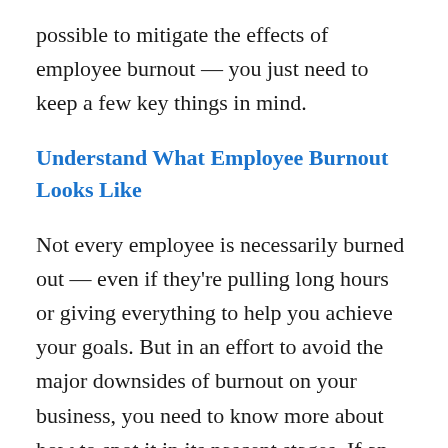possible to mitigate the effects of employee burnout — you just need to keep a few key things in mind.
Understand What Employee Burnout Looks Like
Not every employee is necessarily burned out — even if they're pulling long hours or giving everything to help you achieve your goals. But in an effort to avoid the major downsides of burnout on your business, you need to know more about how to spot it in its nascent stages. If an